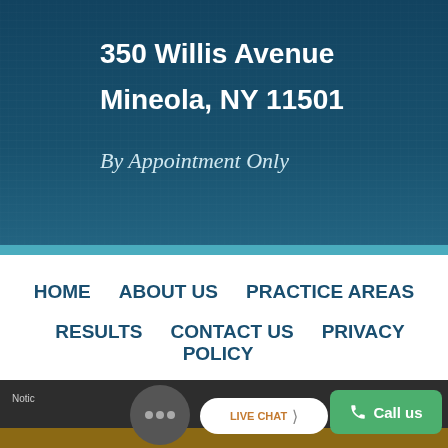350 Willis Avenue
Mineola, NY 11501
By Appointment Only
HOME
ABOUT US
PRACTICE AREAS
RESULTS
CONTACT US
PRIVACY POLICY
SITE MAP
Notice ... LIVE CHAT ... Call us